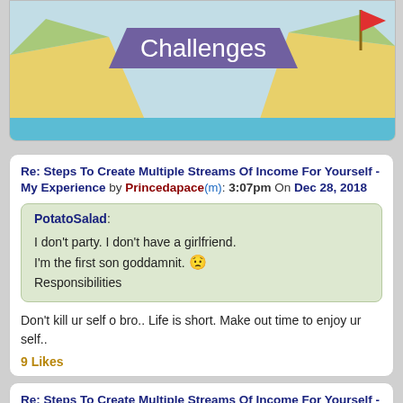[Figure (illustration): Cartoon banner image showing cliffs/rocks with a blue banner reading 'Challenges' in white text, with a red flag on the right cliff.]
Re: Steps To Create Multiple Streams Of Income For Yourself - My Experience by Princedapace(m): 3:07pm On Dec 28, 2018
PotatoSalad: I don't party. I don't have a girlfriend. I'm the first son goddamnit. 😟 Responsibilities
Don't kill ur self o bro.. Life is short. Make out time to enjoy ur self..
9 Likes
Re: Steps To Create Multiple Streams Of Income For Yourself - My Experience by thedondada(m): 3:07pm On